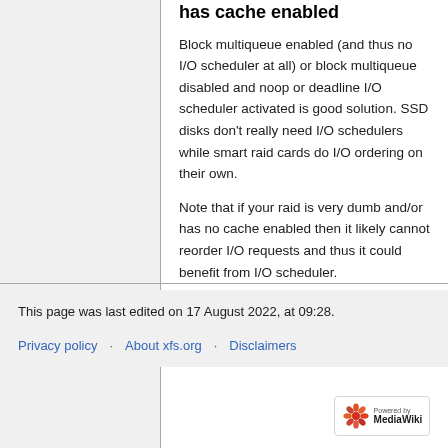has cache enabled
Block multiqueue enabled (and thus no I/O scheduler at all) or block multiqueue disabled and noop or deadline I/O scheduler activated is good solution. SSD disks don't really need I/O schedulers while smart raid cards do I/O ordering on their own.
Note that if your raid is very dumb and/or has no cache enabled then it likely cannot reorder I/O requests and thus it could benefit from I/O scheduler.
This page was last edited on 17 August 2022, at 09:28.
Privacy policy · About xfs.org · Disclaimers